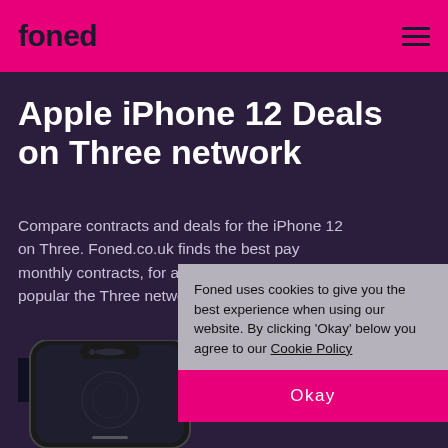foned
Apple iPhone 12 Deals on Three network
Compare contracts and deals for the iPhone 12 on Three. Foned.co.uk finds the best pay monthly contracts, for all networks including the popular the Three network.
VIEW ALL IPHONE 12 DEALS →
[Figure (photo): Black iPhone 12 phone partially visible at bottom of page]
Foned uses cookies to give you the best experience when using our website. By clicking 'Okay' below you agree to our Cookie Policy
Okay